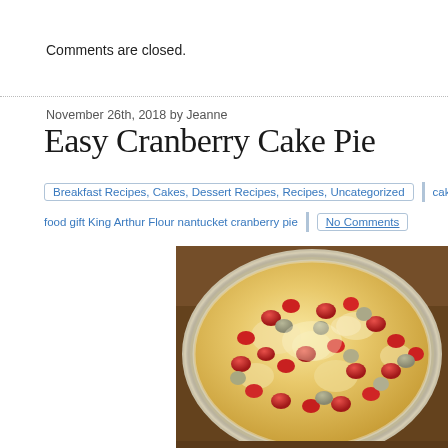Comments are closed.
[Figure (other): Horizontal dotted divider line]
November 26th, 2018 by Jeanne
Easy Cranberry Cake Pie
Breakfast Recipes, Cakes, Dessert Recipes, Recipes, Uncategorized   cake Christmas cranberry
food gift King Arthur Flour nantucket cranberry pie   No Comments
[Figure (photo): Close-up photo of a cranberry cake pie in a silver tin pan, showing golden batter with red cranberries visible on top]